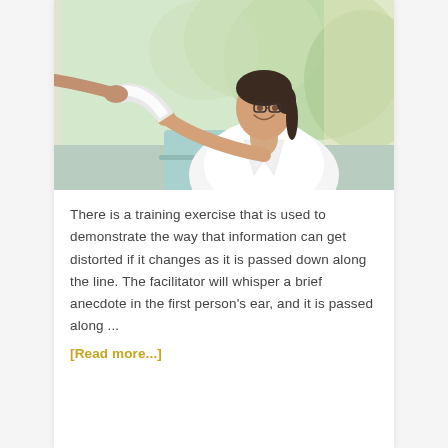[Figure (photo): A smiling woman with glasses and hair pulled back, wearing a white blazer, sitting at a desk with a laptop, reaching to take a document handed to her. Background shows green trees through a window.]
There is a training exercise that is used to demonstrate the way that information can get distorted if it changes as it is passed down along the line. The facilitator will whisper a brief anecdote in the first person's ear, and it is passed along ...
[Read more...]